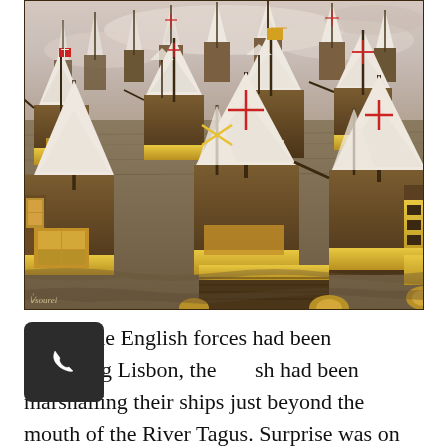[Figure (illustration): Historical painting depicting a large naval battle with numerous tall sailing ships, their white sails billowing. Ships have flags and heraldic decorations. The scene shows many vessels crowded together on choppy water, with a pale sky above. Style consistent with 16th-17th century maritime paintings.]
Whilst the English forces had been assaulting Lisbon, the Spanish had been marshalling their ships just beyond the mouth of the River Tagus. Surprise was on